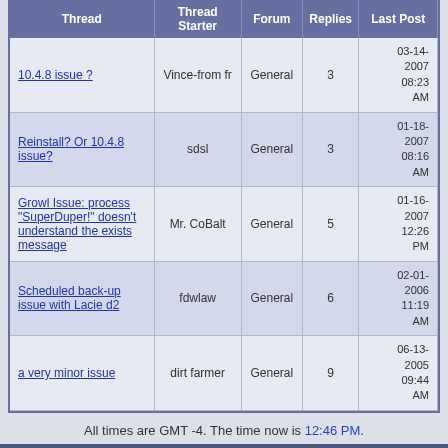| Thread | Thread Starter | Forum | Replies | Last Post |
| --- | --- | --- | --- | --- |
| 10.4.8 issue ? | Vince-from fr | General | 3 | 03-14-2007 08:23 AM |
| Reinstall? Or 10.4.8 issue? | sdsl | General | 3 | 01-18-2007 08:16 AM |
| Growl Issue: process "SuperDuper!" doesn't understand the exists message | Mr. CoBalt | General | 5 | 01-16-2007 12:26 PM |
| Scheduled back-up issue with Lacie d2 | fdwlaw | General | 6 | 02-01-2006 11:19 AM |
| a very minor issue | dirt farmer | General | 9 | 06-13-2005 09:44 AM |
All times are GMT -4. The time now is 12:46 PM.
Contact Us - Shirt Pocket - Archive - Top
Powered by vBulletin® Version 3.8.9
Copyright ©2000 - 2022, vBulletin Solutions, Inc.